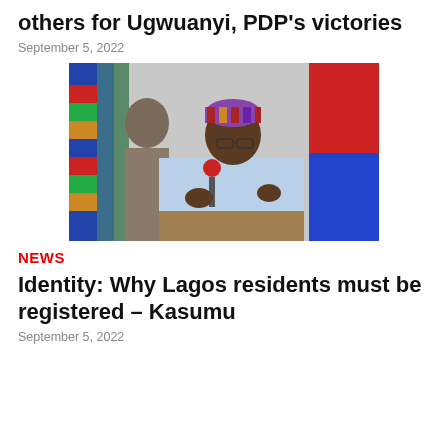others for Ugwuanyi, PDP's victories
September 5, 2022
[Figure (photo): A man in a light blue traditional Nigerian outfit and glasses speaking into a red microphone at a podium, with colorful fabric and a red/blue flag visible in the background.]
NEWS
Identity: Why Lagos residents must be registered – Kasumu
September 5, 2022